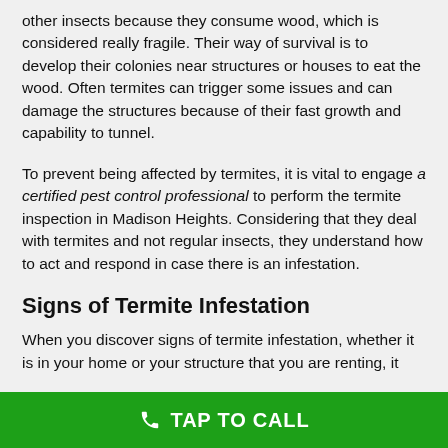other insects because they consume wood, which is considered really fragile. Their way of survival is to develop their colonies near structures or houses to eat the wood. Often termites can trigger some issues and can damage the structures because of their fast growth and capability to tunnel.
To prevent being affected by termites, it is vital to engage a certified pest control professional to perform the termite inspection in Madison Heights. Considering that they deal with termites and not regular insects, they understand how to act and respond in case there is an infestation.
Signs of Termite Infestation
When you discover signs of termite infestation, whether it is in your home or your structure that you are renting, it
TAP TO CALL